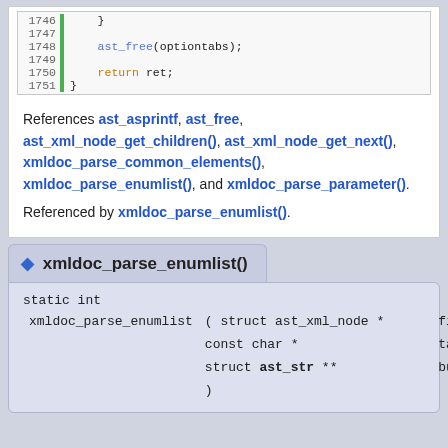[Figure (screenshot): Code block showing lines 1746-1751 with green sidebar bar, containing closing brace, ast_free(optiontabs) call, return ret statement, and closing brace]
References ast_asprintf, ast_free, ast_xml_node_get_children(), ast_xml_node_get_next(), xmldoc_parse_common_elements(), xmldoc_parse_enumlist(), and xmldoc_parse_parameter().
Referenced by xmldoc_parse_enumlist().
◆ xmldoc_parse_enumlist()
|  |  |  |  |
| --- | --- | --- | --- |
| static int |  |  |  |
| xmldoc_parse_enumlist | ( struct ast_xml_node * |  | fixnode, |
|  | const char * |  | tabs, |
|  | struct ast_str ** |  | buffer |
|  | ) |  | static |